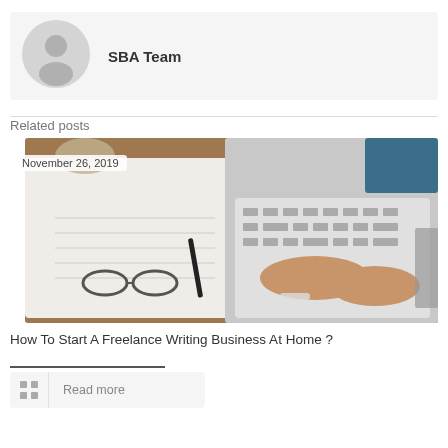[Figure (other): Author avatar placeholder circle with generic person silhouette icon, gray background]
SBA Team
Related posts
[Figure (photo): Overhead photo of a person typing on a laptop on a wooden desk, with an open notebook, glasses, and a pen nearby. A coffee cup is visible in the top corner.]
November 26, 2019
How To Start A Freelance Writing Business At Home ?
Read more